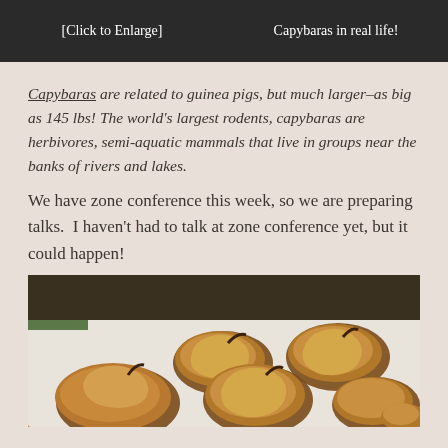[Figure (photo): Top left dark image with text '[Click to Enlarge]']
[Figure (photo): Top right dark image with text 'Capybaras in real life!']
Capybaras are related to guinea pigs, but much larger–as big as 145 lbs! The world's largest rodents, capybaras are herbivores, semi-aquatic mammals that live in groups near the banks of rivers and lakes.
We have zone conference this week, so we are preparing talks.  I haven't had to talk at zone conference yet, but it could happen!
[Figure (photo): Photo of fried food items (possibly capybara meat) arranged on white paper/cloth]